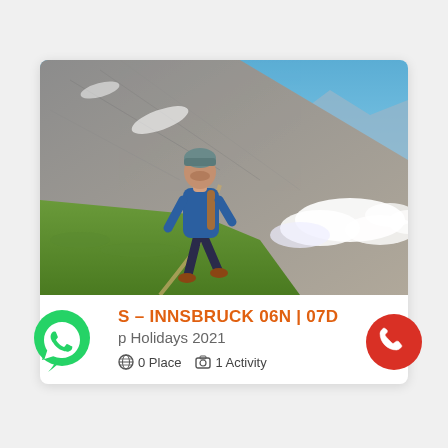[Figure (photo): A hiker in a blue jacket and beanie walking up a steep Alpine mountain trail with rocky slopes and clouds below, Innsbruck Alps scenery]
S – INNSBRUCK 06N | 07D
p Holidays 2021
0 Place  1 Activity